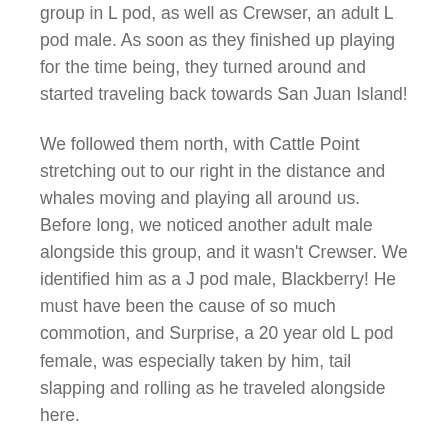group in L pod, as well as Crewser, an adult L pod male. As soon as they finished up playing for the time being, they turned around and started traveling back towards San Juan Island!
We followed them north, with Cattle Point stretching out to our right in the distance and whales moving and playing all around us. Before long, we noticed another adult male alongside this group, and it wasn't Crewser. We identified him as a J pod male, Blackberry! He must have been the cause of so much commotion, and Surprise, a 20 year old L pod female, was especially taken by him, tail slapping and rolling as he traveled alongside here.
We observed these two young, unrelated whales socializing, as well as tail slaps, spyhops, barrel rolls, and breaches from the rest of the L4 group. We even heard a young male socializing above the surface, something you usually need a hydrophone to